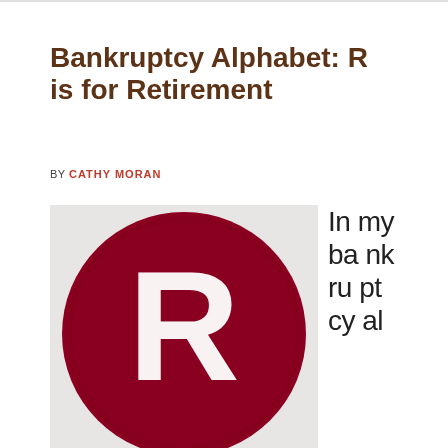Bankruptcy Alphabet: R is for Retirement
BY CATHY MORAN
[Figure (illustration): A large circular badge/logo with a dark red/crimson background and a white letter R in the center, styled like a registered trademark symbol or alphabet letter illustration.]
In my bankruptcy al